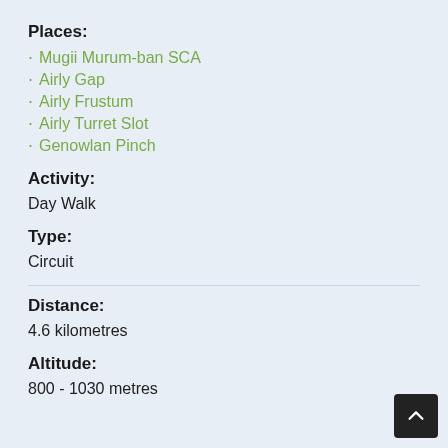Places:
Mugii Murum-ban SCA
Airly Gap
Airly Frustum
Airly Turret Slot
Genowlan Pinch
Activity:
Day Walk
Type:
Circuit
Distance:
4.6 kilometres
Altitude:
800 - 1030 metres